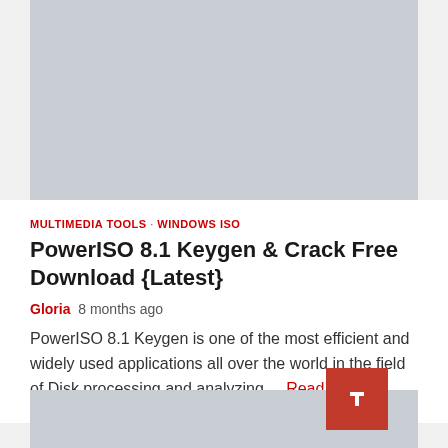[Figure (other): Gray placeholder banner image at top of page]
MULTIMEDIA TOOLS · WINDOWS ISO
PowerISO 8.1 Keygen & Crack Free Download {Latest}
Gloria  8 months ago
PowerISO 8.1 Keygen is one of the most efficient and widely used applications all over the world in the field of Disk processing and analyzing.... Read More
[Figure (other): Gray placeholder banner image at bottom of page with red scroll-to-top button]